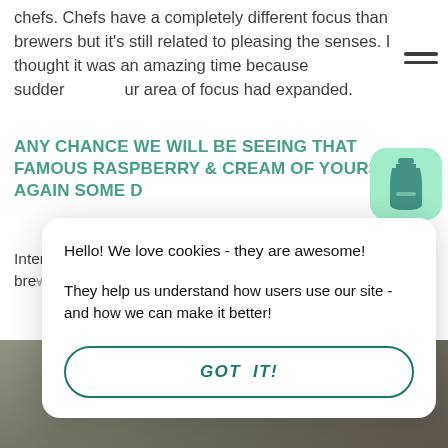chefs. Chefs have a completely different focus than brewers but it's still related to pleasing the senses. I thought it was an amazing time because sudden ur area of focus had expanded.
ANY CHANCE WE WILL BE SEEING THAT FAMOUS RASPBERRY & CREAM OF YOURS AGAIN SOME D
Interestingly enough, it's on tap at Warpigs right now. I brewed another batch of it and I think this one actually co m
[Figure (screenshot): Cookie consent modal dialog with text 'Hello! We love cookies - they are awesome! They help us understand how users use our site - and how we can make it better!' and a 'GOT IT!' button with teal border]
[Figure (photo): Photo strip at bottom of page showing a person in a striped shirt in what appears to be a brewery setting]